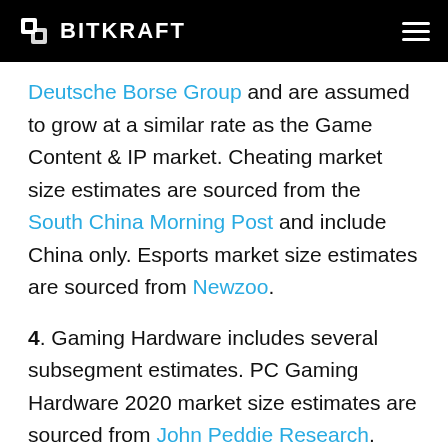BITKRAFT
Deutsche Borse Group and are assumed to grow at a similar rate as the Game Content & IP market. Cheating market size estimates are sourced from the South China Morning Post and include China only. Esports market size estimates are sourced from Newzoo.
4. Gaming Hardware includes several subsegment estimates. PC Gaming Hardware 2020 market size estimates are sourced from John Peddie Research. Console Gaming Hardware